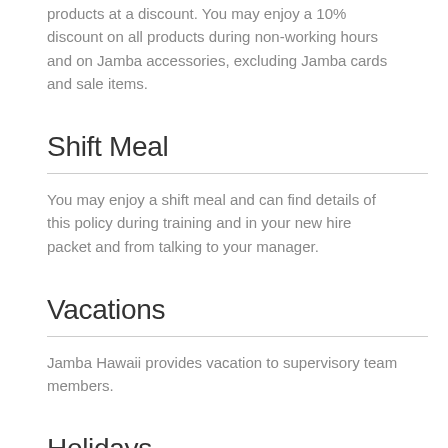products at a discount. You may enjoy a 10% discount on all products during non-working hours and on Jamba accessories, excluding Jamba cards and sale items.
Shift Meal
You may enjoy a shift meal and can find details of this policy during training and in your new hire packet and from talking to your manager.
Vacations
Jamba Hawaii provides vacation to supervisory team members.
Holidays